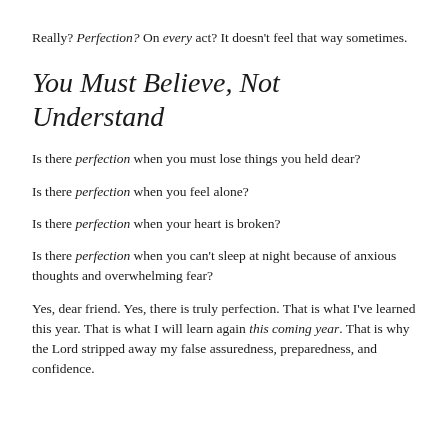Really? Perfection? On every act? It doesn't feel that way sometimes.
You Must Believe, Not Understand
Is there perfection when you must lose things you held dear?
Is there perfection when you feel alone?
Is there perfection when your heart is broken?
Is there perfection when you can't sleep at night because of anxious thoughts and overwhelming fear?
Yes, dear friend. Yes, there is truly perfection. That is what I've learned this year. That is what I will learn again this coming year. That is why the Lord stripped away my false assuredness, preparedness, and confidence.